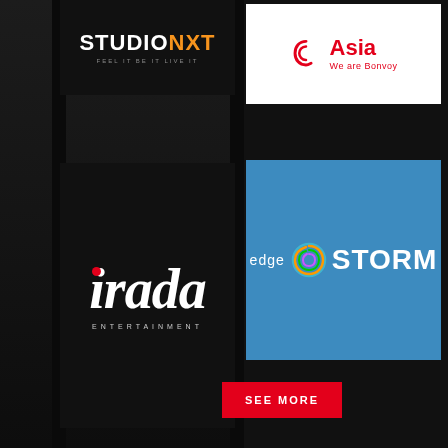[Figure (logo): StudioNXT logo on dark background, top-left panel]
[Figure (logo): Marriott Asia / We are Bonvoy logo on white background, top-right]
[Figure (logo): Irada Entertainment cursive logo on black background, left panel]
[Figure (logo): EdgeStorm logo on blue background, right panel]
SEE MORE